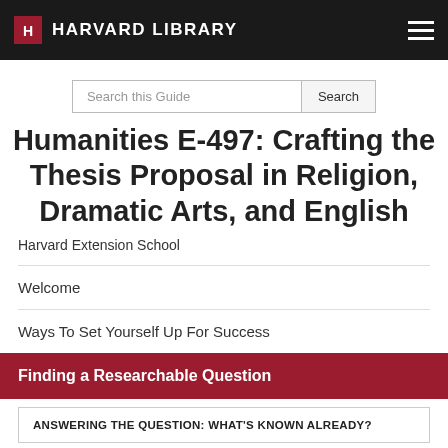HARVARD LIBRARY
Humanities E-497: Crafting the Thesis Proposal in Religion, Dramatic Arts, and English
Harvard Extension School
Welcome
Ways To Set Yourself Up For Success
Finding a Researchable Question
ANSWERING THE QUESTION: WHAT'S KNOWN ALREADY?